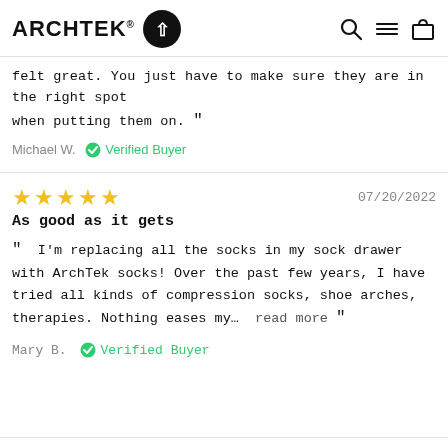ARCHTEK® [logo]
felt great. You just have to make sure they are in the right spot when putting them on. "
Michael W. ✓ Verified Buyer
★★★★★  07/20/2022
As good as it gets
" I'm replacing all the socks in my sock drawer with ArchTek socks! Over the past few years, I have tried all kinds of compression socks, shoe arches, therapies. Nothing eases my…  read more "
Mary B. ✓ Verified Buyer